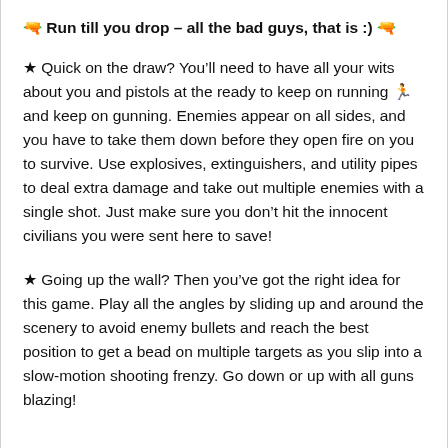🔫 Run till you drop – all the bad guys, that is :) 🔫
★ Quick on the draw? You'll need to have all your wits about you and pistols at the ready to keep on running 🏃 and keep on gunning. Enemies appear on all sides, and you have to take them down before they open fire on you to survive. Use explosives, extinguishers, and utility pipes to deal extra damage and take out multiple enemies with a single shot. Just make sure you don't hit the innocent civilians you were sent here to save!
★ Going up the wall? Then you've got the right idea for this game. Play all the angles by sliding up and around the scenery to avoid enemy bullets and reach the best position to get a bead on multiple targets as you slip into a slow-motion shooting frenzy. Go down or up with all guns blazing!